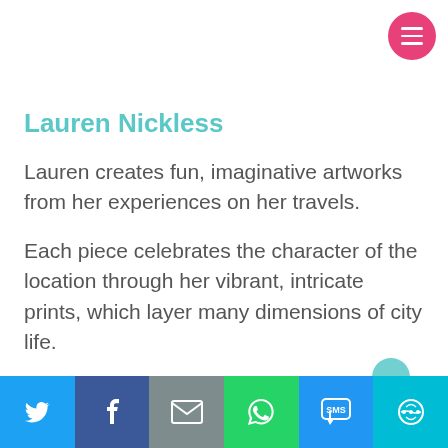Lauren Nickless
Lauren creates fun, imaginative artworks from her experiences on her travels.
Each piece celebrates the character of the location through her vibrant, intricate prints, which layer many dimensions of city life.
Social share bar: Twitter, Facebook, Email, WhatsApp, SMS, More